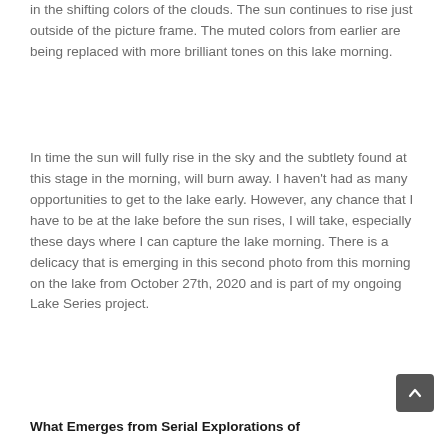in the shifting colors of the clouds. The sun continues to rise just outside of the picture frame. The muted colors from earlier are being replaced with more brilliant tones on this lake morning.
In time the sun will fully rise in the sky and the subtlety found at this stage in the morning, will burn away. I haven't had as many opportunities to get to the lake early. However, any chance that I have to be at the lake before the sun rises, I will take, especially these days where I can capture the lake morning. There is a delicacy that is emerging in this second photo from this morning on the lake from October 27th, 2020 and is part of my ongoing Lake Series project.
What Emerges from Serial Explorations of